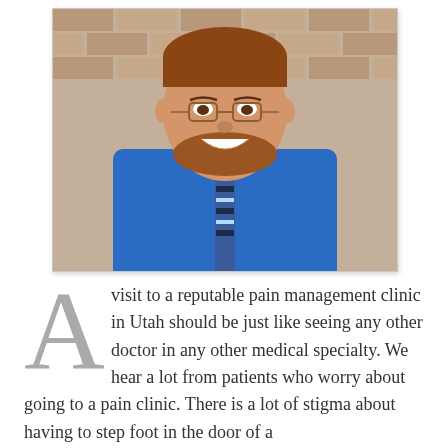[Figure (photo): Smiling man with glasses and a beard wearing a blue dress shirt and a striped blue and black tie, standing against a brick wall background.]
A visit to a reputable pain management clinic in Utah should be just like seeing any other doctor in any other medical specialty. We hear a lot from patients who worry about going to a pain clinic. There is a lot of stigma about having to step foot in the door of a